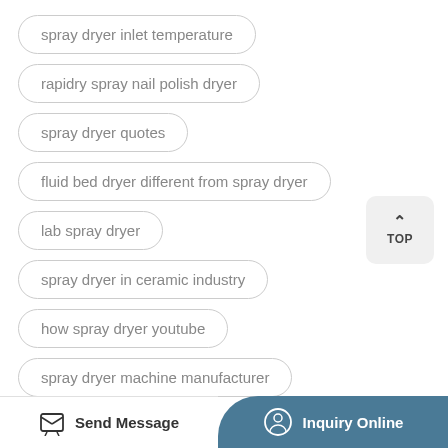spray dryer inlet temperature
rapidry spray nail polish dryer
spray dryer quotes
fluid bed dryer different from spray dryer
lab spray dryer
spray dryer in ceramic industry
how spray dryer youtube
spray dryer machine manufacturer
buchi spray dryer parts
Send Message   Inquiry Online